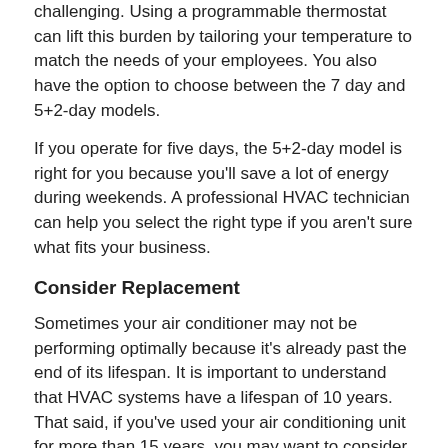challenging. Using a programmable thermostat can lift this burden by tailoring your temperature to match the needs of your employees. You also have the option to choose between the 7 day and 5+2-day models.
If you operate for five days, the 5+2-day model is right for you because you'll save a lot of energy during weekends. A professional HVAC technician can help you select the right type if you aren't sure what fits your business.
Consider Replacement
Sometimes your air conditioner may not be performing optimally because it's already past the end of its lifespan. It is important to understand that HVAC systems have a lifespan of 10 years. That said, if you've used your air conditioning unit for more than 15 years, you may want to consider replacement or upgrade.
When upgrading your AC unit, always look for ENERGY STAR certified products. These units are designed to be energy efficient, which means that you can reduce your energy costs by up to 20%.
Seal Heating and Cooling Ducts
Business owners need to understand that they can improve their